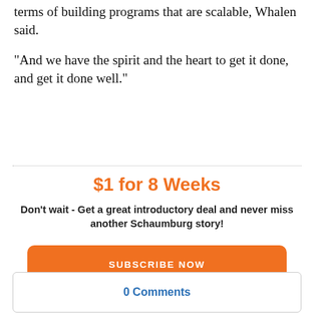terms of building programs that are scalable, Whalen said.
"And we have the spirit and the heart to get it done, and get it done well."
$1 for 8 Weeks
Don't wait - Get a great introductory deal and never miss another Schaumburg story!
SUBSCRIBE NOW
0 Comments